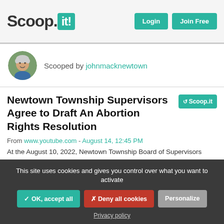Scoop.it! Login Join Free
Scooped by johnmacknewtown
Newtown Township Supervisors Agree to Draft An Abortion Rights Resolution
From www.youtube.com - August 14, 12:45 PM
At the August 10, 2022, Newtown Township Board of Supervisors (BOS) meeting, the controversial issue of abortion rights was discussed. In the end, supervisors voted 3-1 (Mr. Mack was absent) to
This site uses cookies and gives you control over what you want to activate
✓ OK, accept all   ✗ Deny all cookies   Personalize
Privacy policy